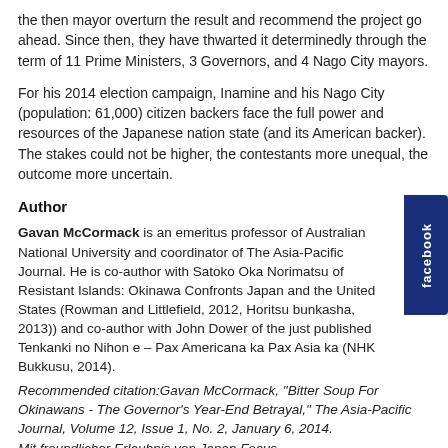the then mayor overturn the result and recommend the project go ahead. Since then, they have thwarted it determinedly through the term of 11 Prime Ministers, 3 Governors, and 4 Nago City mayors.
For his 2014 election campaign, Inamine and his Nago City (population: 61,000) citizen backers face the full power and resources of the Japanese nation state (and its American backer). The stakes could not be higher, the contestants more unequal, the outcome more uncertain.
Author
Gavan McCormack is an emeritus professor of Australian National University and coordinator of The Asia-Pacific Journal. He is co-author with Satoko Oka Norimatsu of Resistant Islands: Okinawa Confronts Japan and the United States (Rowman and Littlefield, 2012, Horitsu bunkasha, 2013)) and co-author with John Dower of the just published Tenkanki no Nihon e – Pax Americana ka Pax Asia ka (NHK Bukkusu, 2014).
Recommended citation:Gavan McCormack, "Bitter Soup For Okinawans - The Governor's Year-End Betrayal," The Asia-Pacific Journal, Volume 12, Issue 1, No. 2, January 6, 2014.
Mit freundlicher Erlaubnis von Japan Focus.
Download als pdf.